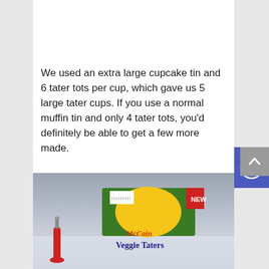We used an extra large cupcake tin and 6 tater tots per cup, which gave us 5 large tater cups. If you use a normal muffin tin and only 4 tater tots, you'd definitely be able to get a few more made.
[Figure (photo): Photo of a McCain Veggie Taters box on a reflective surface with a red squeeze bottle visible on the left side]